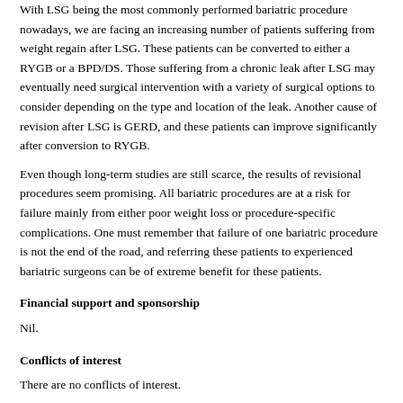With LSG being the most commonly performed bariatric procedure nowadays, we are facing an increasing number of patients suffering from weight regain after LSG. These patients can be converted to either a RYGB or a BPD/DS. Those suffering from a chronic leak after LSG may eventually need surgical intervention with a variety of surgical options to consider depending on the type and location of the leak. Another cause of revision after LSG is GERD, and these patients can improve significantly after conversion to RYGB.
Even though long-term studies are still scarce, the results of revisional procedures seem promising. All bariatric procedures are at a risk for failure mainly from either poor weight loss or procedure-specific complications. One must remember that failure of one bariatric procedure is not the end of the road, and referring these patients to experienced bariatric surgeons can be of extreme benefit for these patients.
Financial support and sponsorship
Nil.
Conflicts of interest
There are no conflicts of interest.